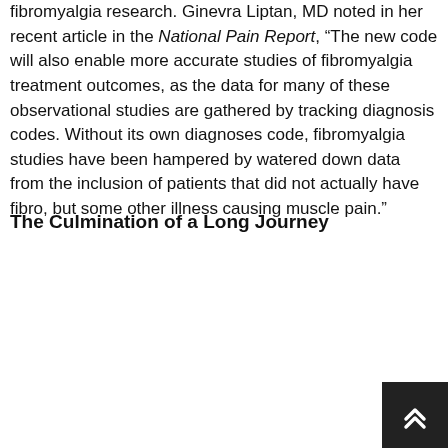fibromyalgia research. Ginevra Liptan, MD noted in her recent article in the National Pain Report, “The new code will also enable more accurate studies of fibromyalgia treatment outcomes, as the data for many of these observational studies are gathered by tracking diagnosis codes. Without its own diagnoses code, fibromyalgia studies have been hampered by watered down data from the inclusion of patients that did not actually have fibro, but some other illness causing muscle pain.”
The Culmination of a Long Journey